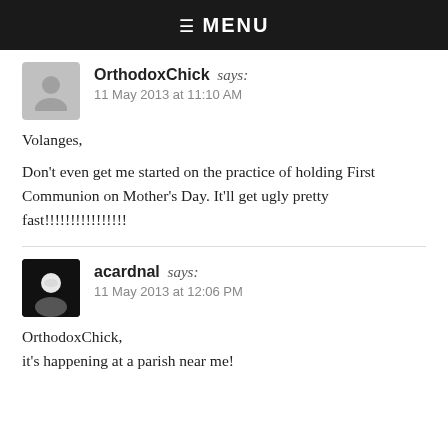☰  MENU
OrthodoxChick says:
11 May 2013 at 11:10 AM

Volanges,

Don't even get me started on the practice of holding First Communion on Mother's Day. It'll get ugly pretty fast!!!!!!!!!!!!!!!!
acardnal says:
11 May 2013 at 12:06 PM

OrthodoxChick,
it's happening at a parish near me!